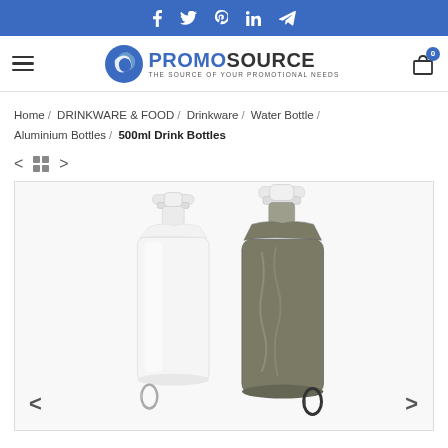Social media links bar: Facebook, Twitter, Pinterest, LinkedIn, Telegram
[Figure (logo): PromoSource logo with blue S icon and tagline 'THE SOURCE OF YOUR PROMOTIONAL NEEDS']
Home / DRINKWARE & FOOD / Drinkware / Water Bottle / Aluminium Bottles / 500ml Drink Bottles
[Figure (photo): Two foldable 500ml drink bottles - one white/clear and one olive/dark green, both with white screw caps and carabiner clips attached at the bottom]